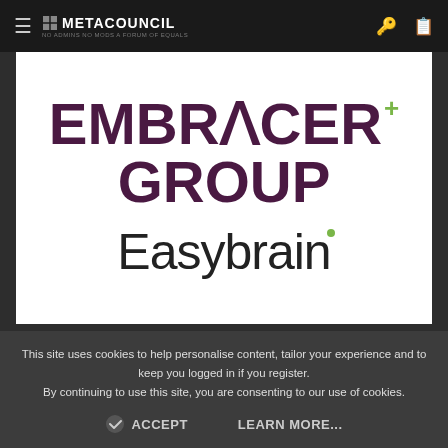METACOUNCIL — No admins no mods a forum of equals
[Figure (logo): Embracer Group logo with purple bold text and green plus sign, above Easybrain logo in light sans-serif with green dot accent]
Embracer Group AB ("Embracer") [1], has today entered into an agreement to merge with Cyprus-based Easybrain Limited ("Easybrain") in an all equity
This site uses cookies to help personalise content, tailor your experience and to keep you logged in if you register. By continuing to use this site, you are consenting to our use of cookies.
✓ ACCEPT   LEARN MORE...